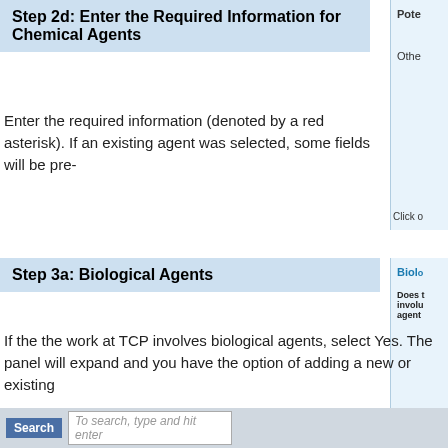Step 2d: Enter the Required Information for Chemical Agents
[Figure (screenshot): Screenshot of a form panel showing 'Potential' and 'Other' fields with a 'Click on' caption below]
Enter the required information (denoted by a red asterisk). If an existing agent was selected, some fields will be pre-
Step 3a: Biological Agents
[Figure (screenshot): Screenshot of Biological Agents panel with 'Does it involve agent' text and 'Click on in' caption]
If the the work at TCP involves biological agents, select Yes. The panel will expand and you have the option of adding a new or existing
[Figure (screenshot): Screenshot showing Back to Top link and Search bar with search input field]